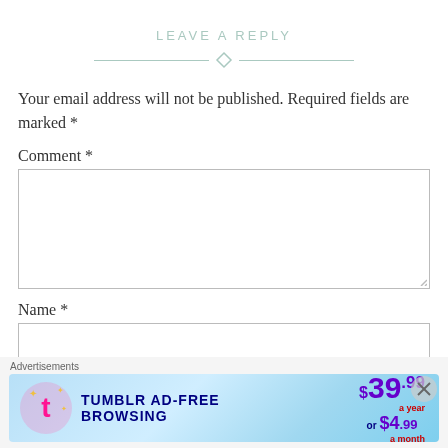LEAVE A REPLY
Your email address will not be published. Required fields are marked *
Comment *
Name *
[Figure (infographic): Tumblr AD-FREE BROWSING advertisement banner: $39.99 a year or $4.99 a month]
Advertisements